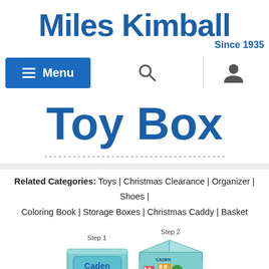[Figure (logo): Miles Kimball logo with 'Since 1935' tagline in blue]
[Figure (screenshot): Navigation bar with blue Menu button (hamburger icon), search icon, and user/account icon]
Toy Box
Related Categories: Toys | Christmas Clearance | Organizer | Shoes | Coloring Book | Storage Boxes | Christmas Caddy | Basket
[Figure (photo): Two-step product image showing a personalized toy box named 'Caden'. Step 1 shows a flat lid, Step 2 shows the assembled box with colorful city/vehicle design.]